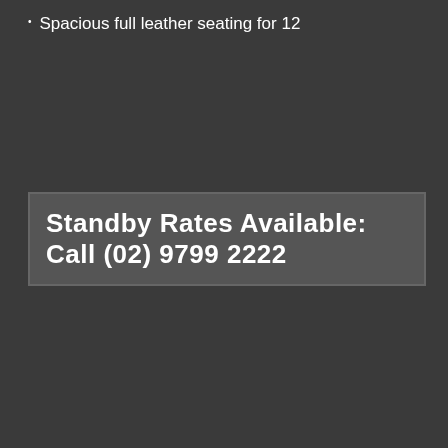Spacious full leather seating for 12
Standby Rates Available: Call (02) 9799 2222